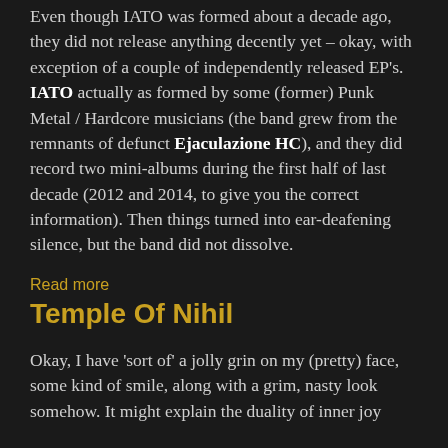Even though IATO was formed about a decade ago, they did not release anything decently yet – okay, with exception of a couple of independently released EP's. IATO actually as formed by some (former) Punk Metal / Hardcore musicians (the band grew from the remnants of defunct Ejaculazione HC), and they did record two mini-albums during the first half of last decade (2012 and 2014, to give you the correct information). Then things turned into ear-deafening silence, but the band did not dissolve.
Read more
Temple Of Nihil
Okay, I have 'sort of' a jolly grin on my (pretty) face, some kind of smile, along with a grim, nasty look somehow. It might explain the duality of inner joy